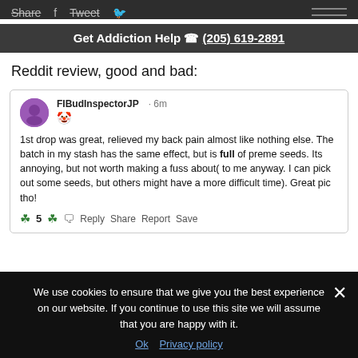Share   Tweet
Get Addiction Help (205) 619-2891
Reddit review, good and bad:
[Figure (screenshot): Reddit comment by FIBudInspectorJP · 6m: '1st drop was great, relieved my back pain almost like nothing else. The batch in my stash has the same effect, but is full of preme seeds. Its annoying, but not worth making a fuss about( to me anyway. I can pick out some seeds, but others might have a more difficult time). Great pic tho!' with 5 upvotes and Reply Share Report Save actions.]
We use cookies to ensure that we give you the best experience on our website. If you continue to use this site we will assume that you are happy with it.
Ok   Privacy policy